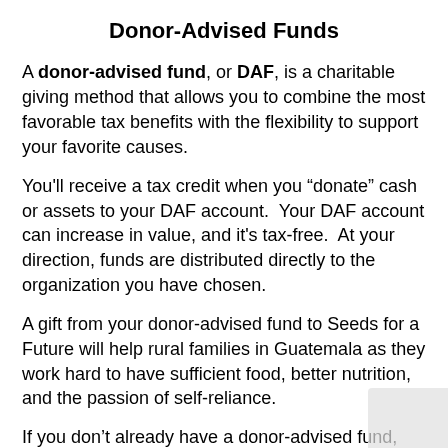Donor-Advised Funds
A donor-advised fund, or DAF, is a charitable giving method that allows you to combine the most favorable tax benefits with the flexibility to support your favorite causes.
You'll receive a tax credit when you “donate” cash or assets to your DAF account.  Your DAF account can increase in value, and it's tax-free.  At your direction, funds are distributed directly to the organization you have chosen.
A gift from your donor-advised fund to Seeds for a Future will help rural families in Guatemala as they work hard to have sufficient food, better nutrition, and the passion of self-reliance.
If you don’t already have a donor-advised fund, they’re simple to set up through a financial